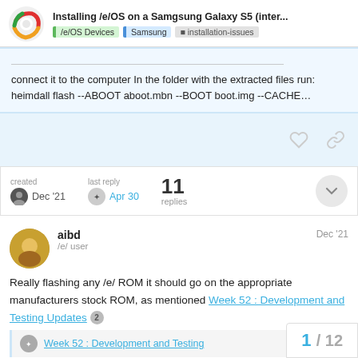Installing /e/OS on a Samgsung Galaxy S5 (inter... | /e/OS Devices | Samsung | installation-issues
connect it to the computer In the folder with the extracted files run: heimdall flash --ABOOT aboot.mbn --BOOT boot.img --CACHE...
created Dec '21  last reply Apr 30  11 replies
aibd Dec '21
/e/ user
Really flashing any /e/ ROM it should go on the appropriate manufacturers stock ROM, as mentioned Week 52 : Development and Testing Updates 2
Week 52 : Development and Testing
1 / 12